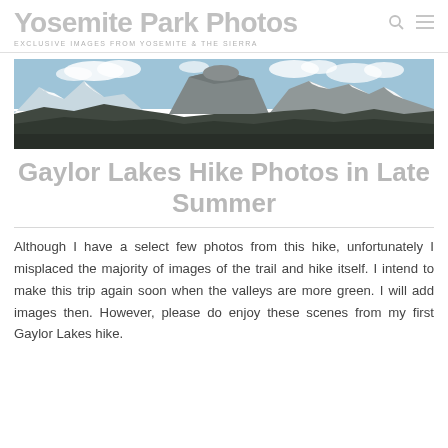Yosemite Park Photos
EXCLUSIVE IMAGES FROM YOSEMITE & THE SIERRA
[Figure (photo): Panoramic photograph of Yosemite mountains including Half Dome, with snow-capped peaks and blue sky with clouds]
Gaylor Lakes Hike Photos in Late Summer
Although I have a select few photos from this hike, unfortunately I misplaced the majority of images of the trail and hike itself. I intend to make this trip again soon when the valleys are more green. I will add images then. However, please do enjoy these scenes from my first Gaylor Lakes hike.